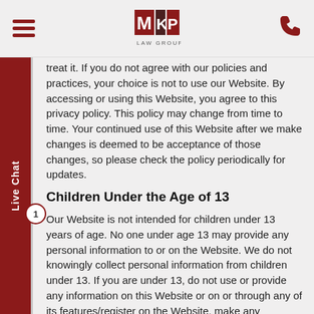MKP LAW GROUP navigation header
treat it. If you do not agree with our policies and practices, your choice is not to use our Website. By accessing or using this Website, you agree to this privacy policy. This policy may change from time to time. Your continued use of this Website after we make changes is deemed to be acceptance of those changes, so please check the policy periodically for updates.
Children Under the Age of 13
Our Website is not intended for children under 13 years of age. No one under age 13 may provide any personal information to or on the Website. We do not knowingly collect personal information from children under 13. If you are under 13, do not use or provide any information on this Website or on or through any of its features/register on the Website, make any purchases through the Website, use any of the interactive or public comment features of this Website or provide any information about yourself to us, including your name, address, telephone number, e-mail